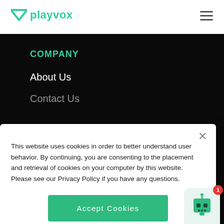[Figure (logo): Playvox logo with green triangle/chevron icon and green text 'playvox']
[Figure (other): Hamburger menu icon (three horizontal lines)]
COMPANY
About Us
Contact Us
This website uses cookies in order to better understand user behavior. By continuing, you are consenting to the placement and retrieval of cookies on your computer by this website. Please see our Privacy Policy if you have any questions.
[Figure (other): Accept Cookies button (green rectangle with white text 'Accept Cookies')]
[Figure (other): Chat robot widget icon with red badge showing '1']